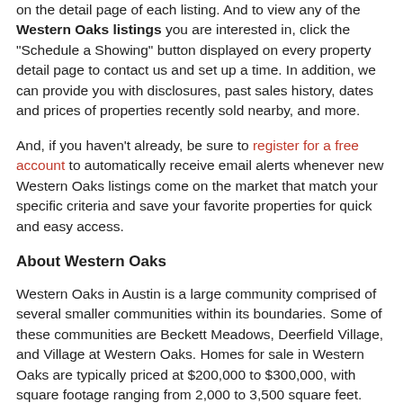on the detail page of each listing. And to view any of the Western Oaks listings you are interested in, click the "Schedule a Showing" button displayed on every property detail page to contact us and set up a time. In addition, we can provide you with disclosures, past sales history, dates and prices of properties recently sold nearby, and more.
And, if you haven't already, be sure to register for a free account to automatically receive email alerts whenever new Western Oaks listings come on the market that match your specific criteria and save your favorite properties for quick and easy access.
About Western Oaks
Western Oaks in Austin is a large community comprised of several smaller communities within its boundaries. Some of these communities are Beckett Meadows, Deerfield Village, and Village at Western Oaks. Homes for sale in Western Oaks are typically priced at $200,000 to $300,000, with square footage ranging from 2,000 to 3,500 square feet. Western Oaks is well known for its affordably-priced homes. And by being just 15 minutes away from downtown Austin, Western Oaks homes are your perfect bet if you'd like to raise your family in a suburban property that is